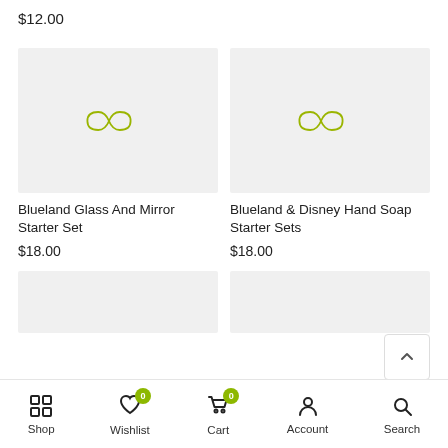$12.00
[Figure (screenshot): Product image placeholder with Blueland logo for Blueland Glass And Mirror Starter Set]
Blueland Glass And Mirror Starter Set
$18.00
[Figure (screenshot): Product image placeholder with Blueland logo for Blueland & Disney Hand Soap Starter Sets]
Blueland & Disney Hand Soap Starter Sets
$18.00
[Figure (screenshot): Partial product images row at the bottom]
Shop  Wishlist  Cart  Account  Search